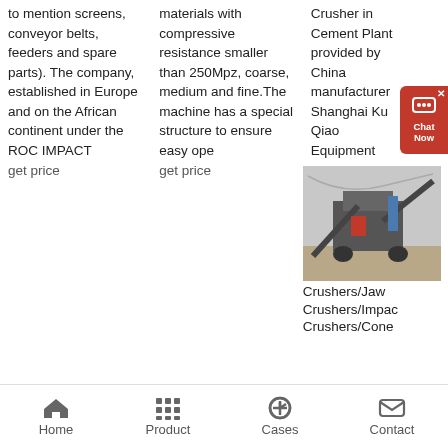to mention screens, conveyor belts, feeders and spare parts). The company, established in Europe and on the African continent under the ROC IMPACT
get price
materials with compressive resistance smaller than 250Mpz, coarse, medium and fine.The machine has a special structure to ensure easy ope
get price
Crusher in Cement Plant provided by China manufacturer Shanghai Ku Qiao Equipment Co., Ltd., page1.
get price
[Figure (photo): Photo of industrial crushing/screening machinery on a job site, with conveyor belts and heavy equipment visible outdoors.]
Crushers/Jaw Crushers/Impac Crushers/Cone
[Figure (infographic): Red chat widget button with speech bubble icon and 'Chat Now' text, with an X close button in the top right corner.]
Home | Product | Cases | Contact